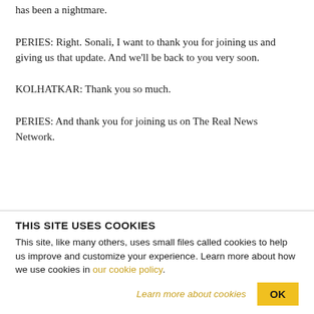has been a nightmare.
PERIES: Right. Sonali, I want to thank you for joining us and giving us that update. And we'll be back to you very soon.
KOLHATKAR: Thank you so much.
PERIES: And thank you for joining us on The Real News Network.
THIS SITE USES COOKIES
This site, like many others, uses small files called cookies to help us improve and customize your experience. Learn more about how we use cookies in our cookie policy.
Learn more about cookies   OK